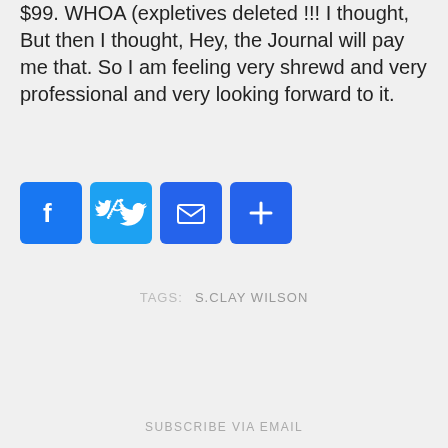$99. WHOA (expletives deleted !!! I thought, But then I thought, Hey, the Journal will pay me that. So I am feeling very shrewd and very professional and very looking forward to it.
[Figure (other): Social sharing buttons: Facebook (blue), Twitter (blue), Email (blue envelope), Share/Plus (blue)]
TAGS: S.CLAY WILSON
SUBSCRIBE VIA EMAIL